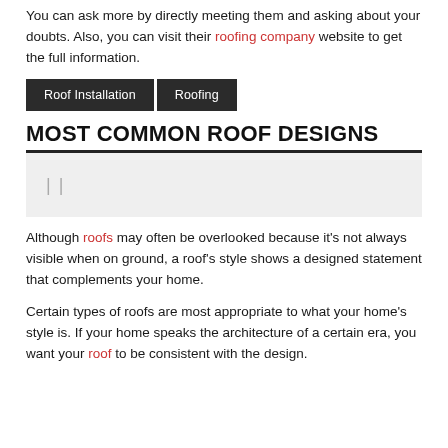You can ask more by directly meeting them and asking about your doubts. Also, you can visit their roofing company website to get the full information.
Roof Installation
Roofing
MOST COMMON ROOF DESIGNS
[Figure (other): Breadcrumb navigation bar with a light grey background and dark top border, showing two vertical separator lines]
Although roofs may often be overlooked because it's not always visible when on ground, a roof's style shows a designed statement that complements your home.
Certain types of roofs are most appropriate to what your home's style is. If your home speaks the architecture of a certain era, you want your roof to be consistent with the design.